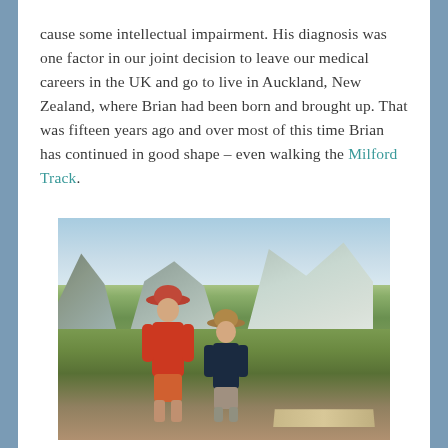cause some intellectual impairment. His diagnosis was one factor in our joint decision to leave our medical careers in the UK and go to live in Auckland, New Zealand, where Brian had been born and brought up. That was fifteen years ago and over most of this time Brian has continued in good shape – even walking the Milford Track.
[Figure (photo): Two people standing on a boardwalk trail in a mountainous landscape in New Zealand, surrounded by scrubby alpine vegetation with dramatic mountains in the background. The taller person on the left wears a red jacket, wide-brimmed hat, and orange shorts. The shorter person on the right wears a dark navy fleece and a sun hat.]